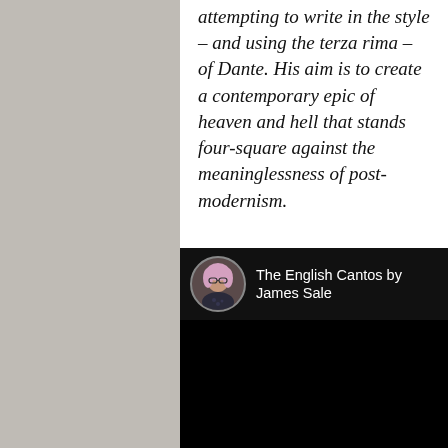attempting to write in the style – and using the terza rima – of Dante. His aim is to create a contemporary epic of heaven and hell that stands four-square against the meaninglessness of post-modernism.
[Figure (screenshot): A YouTube-style video embed with a circular avatar thumbnail of a woman with glasses and a dark floral top, and the title 'The English Cantos by James Sale' on a black background]